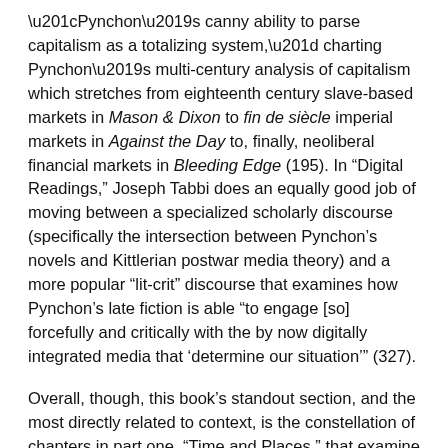“Pynchon’s canny ability to parse capitalism as a totalizing system,” charting Pynchon’s multi-century analysis of capitalism which stretches from eighteenth century slave-based markets in Mason & Dixon to fin de siècle imperial markets in Against the Day to, finally, neoliberal financial markets in Bleeding Edge (195). In “Digital Readings,” Joseph Tabbi does an equally good job of moving between a specialized scholarly discourse (specifically the intersection between Pynchon’s novels and Kittlerian postwar media theory) and a more popular “lit-crit” discourse that examines how Pynchon’s late fiction is able “to engage [so] forcefully and critically with the by now digitally integrated media that ‘determine our situation’” (327).
Overall, though, this book’s standout section, and the most directly related to context, is the constellation of chapters in part one, “Time and Places,” that examine within Pynchon’s novels their vast span of geographical settings and temporal frames. As Dalsgaard notes in the introduction, while every Pynchonite knows that his novels “cover hundreds of years and almost every...